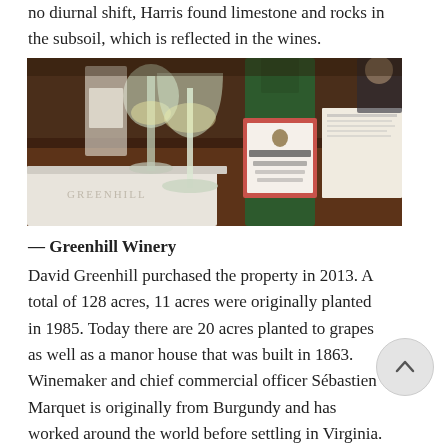no diurnal shift, Harris found limestone and rocks in the subsoil, which is reflected in the wines.
[Figure (photo): Photo of a Greenhill Winery sparkling wine bottle (green, with pink label reading 'Greenhill') in the foreground on a dark wooden table, with a wine glass containing white wine in the background, and papers/documents to the right.]
— Greenhill Winery
David Greenhill purchased the property in 2013. A total of 128 acres, 11 acres were originally planted in 1985. Today there are 20 acres planted to grapes as well as a manor house that was built in 1863. Winemaker and chief commercial officer Sébastien Marquet is originally from Burgundy and has worked around the world before settling in Virginia. Greenhill Winery produces a chardonnay-based blanc de blanc sparkling wine, Bordeaux-based red wines, a dining red blend, as well as a rosé and